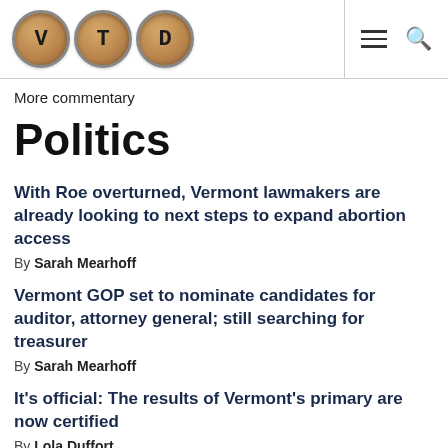VTD logo header with navigation icons
More commentary
Politics
With Roe overturned, Vermont lawmakers are already looking to next steps to expand abortion access
By Sarah Mearhoff
Vermont GOP set to nominate candidates for auditor, attorney general; still searching for treasurer
By Sarah Mearhoff
It's official: The results of Vermont's primary are now certified
By Lola Duffort